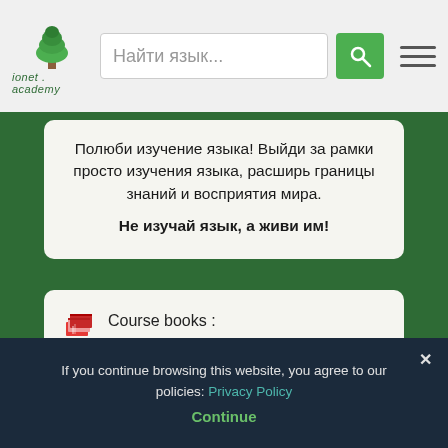[Figure (logo): Ionet Academy logo with green tree icon and text 'ionet . academy']
Найти язык...
Полюби изучение языка! Выйди за рамки просто изучения языка, расширь границы знаний и восприятия мира.
Не изучай язык, а живи им!
Course books :
Certificates :
My lesson plan :
If you continue browsing this website, you agree to our policies: Privacy Policy
Continue